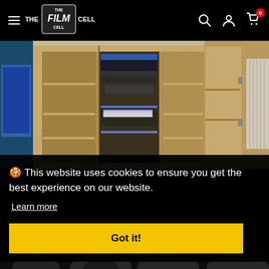[Figure (screenshot): The Film Cell website header with hamburger menu, logo, search icon, account icon, and cart icon with 0 badge]
[Figure (photo): Open wooden media cabinet with shelves showing electronic equipment, blue LED lighting, on a carpeted floor in a room]
🍪 This website uses cookies to ensure you get the best experience on our website.
Learn more
Got it!
[Figure (photo): Partial bottom image showing dark background with some circular objects visible]